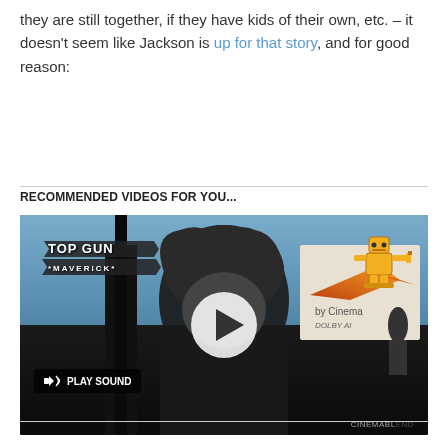they are still together, if they have kids of their own, etc. – it doesn't seem like Jackson is up for that story, and for good reason:
RECOMMENDED VIDEOS FOR YOU...
[Figure (screenshot): Video player thumbnail showing a man at a Top Gun: Maverick premiere event. Overlays include a Top Gun Maverick logo top-left, a robot blender icon top-right, a PLAY SOUND button bottom-left, a large play button circle in the center, Dolby Cinema text, and a CINEMABL... watermark bottom-right.]